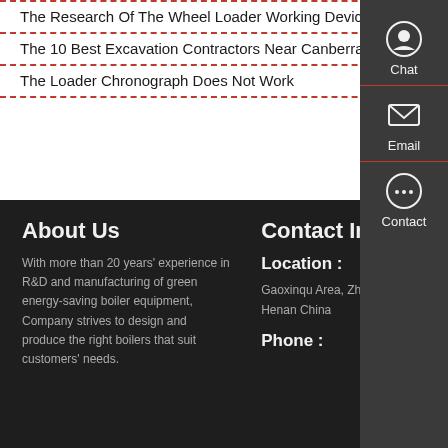The Research Of The Wheel Loader Working Device
The 10 Best Excavation Contractors Near Canberra ACT
The Loader Chronograph Does Not Work
About Us
With more than 20 years' experience in R&D and manufacturing of green energy-saving boiler equipment, Company strives to design and produce the right boilers that suit customers' needs.
Contact Info
Location :
Gaoxinqu Area, Zhengzhou Henan China
Phone :
Chat
Email
Contact